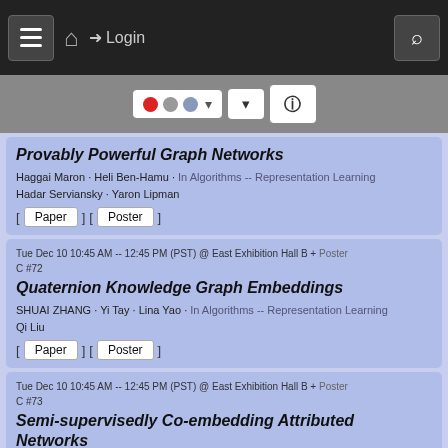Login
[Figure (screenshot): Filter bar with colored dots (red, gray, blue), dropdown arrows, and a help icon on a gray background]
Provably Powerful Graph Networks
Haggai Maron · Heli Ben-Hamu · In Algorithms -- Representation Learning Hadar Serviansky · Yaron Lipman
[ Paper ] [ Poster ]
Tue Dec 10 10:45 AM -- 12:45 PM (PST) @ East Exhibition Hall B + Poster C #72
Quaternion Knowledge Graph Embeddings
SHUAI ZHANG · Yi Tay · Lina Yao · In Algorithms -- Representation Learning Qi Liu
[ Paper ] [ Poster ]
Tue Dec 10 10:45 AM -- 12:45 PM (PST) @ East Exhibition Hall B + Poster C #73
Semi-supervisedly Co-embedding Attributed Networks
Zaiqiao Meng · Shangsong Liang · In Algorithms -- Representation Learning Jinyuan Fang · Teng Xiao
[ Paper ] [ Poster ]